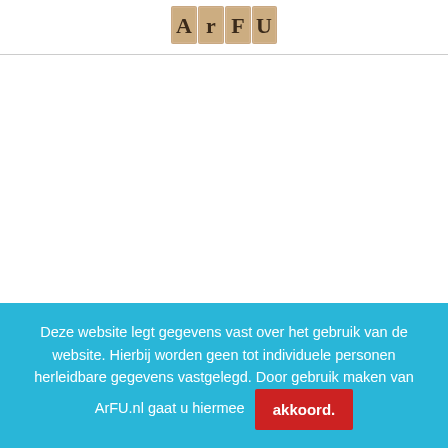[Figure (logo): ArFU logo — four wooden scrabble-like tiles spelling A, r, F, U]
Deze website legt gegevens vast over het gebruik van de website. Hierbij worden geen tot individuele personen herleidbare gegevens vastgelegd. Door gebruik maken van ArFU.nl gaat u hiermee akkoord.